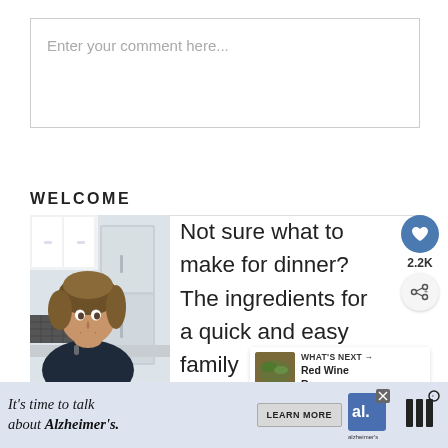Enter your comment here...
WELCOME
[Figure (photo): Woman with dark blonde hair posing in a kitchen with white cabinets and a stainless steel refrigerator]
Not sure what to make for dinner? The ingredients for a quick and easy family home cooked meal are right in front of
[Figure (infographic): Social sharing widget with heart icon showing 2.2K and a share icon]
[Figure (infographic): What's Next panel showing Red Wine Rosemary...]
[Figure (screenshot): Advertisement banner: It's time to talk about Alzheimer's. with Learn More button and Alzheimer's Association logo]